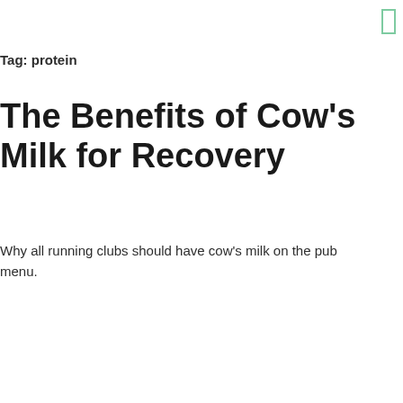[Figure (other): Small green outlined rectangle icon in top right corner]
Tag: protein
The Benefits of Cow's Milk for Recovery
Why all running clubs should have cow's milk on the pub menu.